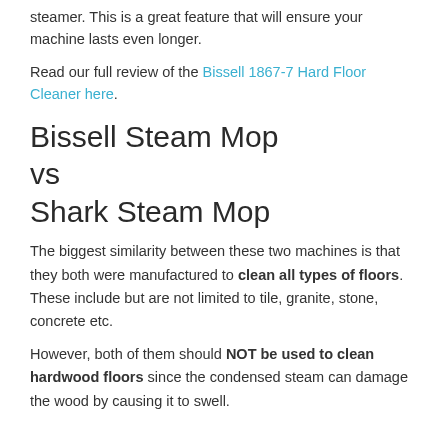steamer. This is a great feature that will ensure your machine lasts even longer.
Read our full review of the Bissell 1867-7 Hard Floor Cleaner here.
Bissell Steam Mop vs Shark Steam Mop
The biggest similarity between these two machines is that they both were manufactured to clean all types of floors. These include but are not limited to tile, granite, stone, concrete etc.
However, both of them should NOT be used to clean hardwood floors since the condensed steam can damage the wood by causing it to swell.